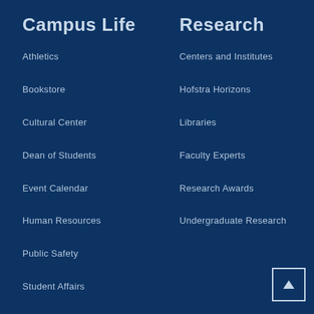Campus Life
Research
Athletics
Centers and Institutes
Bookstore
Hofstra Horizons
Cultural Center
Libraries
Dean of Students
Faculty Experts
Event Calendar
Research Awards
Human Resources
Undergraduate Research
Public Safety
Student Affairs